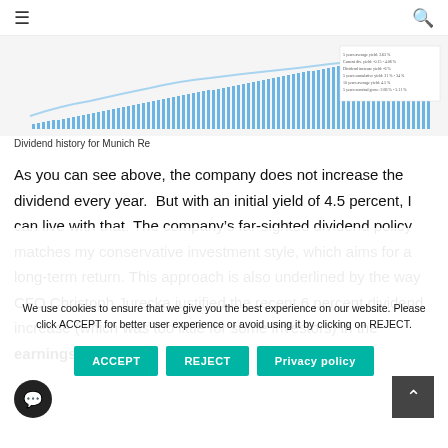☰  🔍
[Figure (bar-chart): Dividend history bar chart for Munich Re showing historical dividend amounts over many years, with bars increasing over time and a legend in the upper right.]
Dividend history for Munich Re
As you can see above, the company does not increase the dividend every year.  But with an initial yield of 4.5 percent, I can live with that. The company's far-sighted dividend policy matches my conservative investment style, which aims for a long-term return. This approach is also underlined by the way CFO Christoph Jurecka justified the recent 6 percent dividend increase (which was too little for some investors) in the earnings call
We use cookies to ensure that we give you the best experience on our website. Please click ACCEPT for better user experience or avoid using it by clicking on REJECT.
ACCEPT   REJECT   Privacy policy